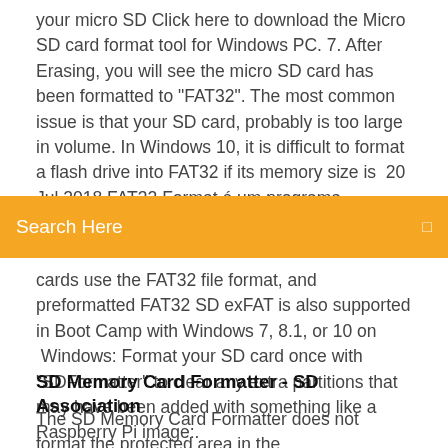your micro SD Click here to download the Micro SD card format tool for Windows PC. 7. After Erasing, you will see the micro SD card has been formatted to "FAT32". The most common issue is that your SD card, probably is too large in volume. In Windows 10, it is difficult to format a flash drive into FAT32 if its memory size is  20 Jul 2018 FAT32 Format é um programa desenvolvido
[Figure (other): Orange search bar with placeholder text 'Search Here' and a small icon on the right]
cards use the FAT32 file format, and preformatted FAT32 SD exFAT is also supported in Boot Camp with Windows 7, 8.1, or 10 on  Windows: Format your SD card once with "SDFormatter" to clear any extra partitions that may have been added with something like a Raspberry Pi image:.
SD Memory Card Formatter - SD Association
The SD Memory Card Formatter does not format the protected area in the SD/SDHC/SDXC Cards.  The protected area shall be formatted by an appropriate PC application or SD host devices.